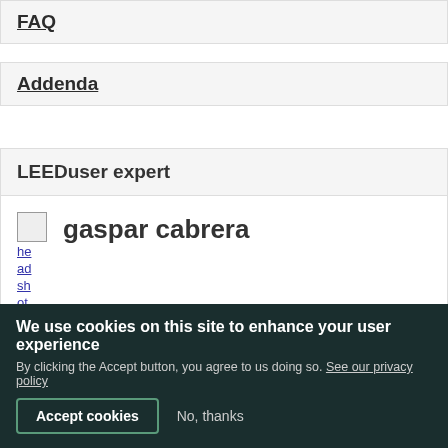FAQ
Addenda
LEEDuser expert
gaspar cabrera
FEEDBACK
We use cookies on this site to enhance your user experience
By clicking the Accept button, you agree to us doing so. See our privacy policy
Accept cookies
No, thanks